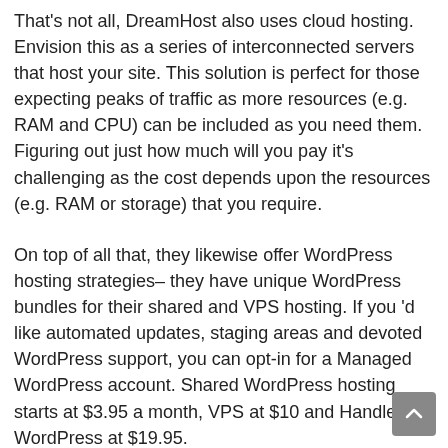That's not all, DreamHost also uses cloud hosting. Envision this as a series of interconnected servers that host your site. This solution is perfect for those expecting peaks of traffic as more resources (e.g. RAM and CPU) can be included as you need them. Figuring out just how much will you pay it's challenging as the cost depends upon the resources (e.g. RAM or storage) that you require.
On top of all that, they likewise offer WordPress hosting strategies– they have unique WordPress bundles for their shared and VPS hosting. If you 'd like automated updates, staging areas and devoted WordPress support, you can opt-in for a Managed WordPress account. Shared WordPress hosting starts at $3.95 a month, VPS at $10 and Handled WordPress at $19.95.